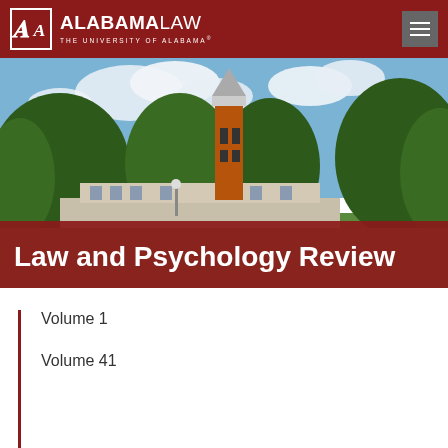ALABAMA LAW — THE UNIVERSITY OF ALABAMA
[Figure (photo): Campus photo showing Denny Chimes bell tower surrounded by green trees against a blue sky with clouds, University of Alabama campus]
Law and Psychology Review
Volume 1
Volume 41